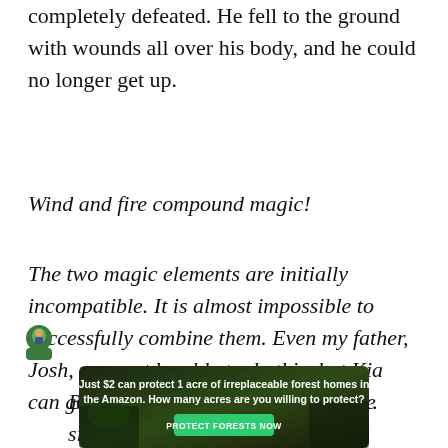completely defeated. He fell to the ground with wounds all over his body, and he could no longer get up.
Wind and fire compound magic!
The two magic elements are initially incompatible. It is almost impossible to successfully combine them. Even my father, Josh, may not be able to do this, but Kia can go against such a rule and cast it…
By the way, Royce has received the signal
[Figure (infographic): Advertisement banner: 'Just $2 can protect 1 acre of irreplaceable forest homes in the Amazon. How many acres are you willing to protect?' with a green PROTECT FORESTS NOW button, on a dark forest background.]